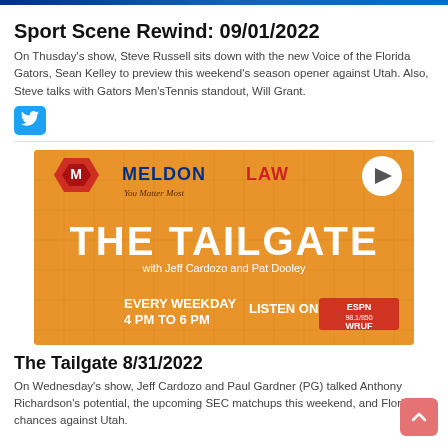Sport Scene Rewind: 09/01/2022
On Thusday's show, Steve Russell sits down with the new Voice of the Florida Gators, Sean Kelley to preview this weekend's season opener against Utah. Also, Steve talks with Gators Men'sTennis standout, Will Grant.
[Figure (illustration): Twitter bird icon button in blue]
[Figure (illustration): The Tailgate show advertisement banner with Meldon Law sponsorship. Orange background with diagonal tile pattern. Shows large text THE TAILGATE with Jeff Cardozo and Pat Dooley. Every Weekday 4 PM to 6 PM. Listen on ESPN 98.1/850 WRUF. Play button icon in top right.]
The Tailgate 8/31/2022
On Wednesday's show, Jeff Cardozo and Paul Gardner (PG) talked Anthony Richardson's potential, the upcoming SEC matchups this weekend, and Florida's chances against Utah.